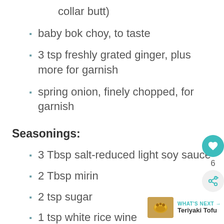collar butt)
baby bok choy, to taste
3 tsp freshly grated ginger, plus more for garnish
spring onion, finely chopped, for garnish
Seasonings:
3 Tbsp salt-reduced light soy sauce
2 Tbsp mirin
2 tsp sugar
1 tsp white rice wine